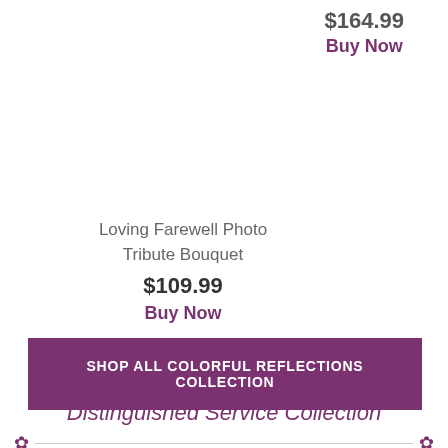$164.99
Buy Now
Loving Farewell Photo Tribute Bouquet
$109.99
Buy Now
SHOP ALL COLORFUL REFLECTIONS COLLECTION
Distinguished Service Collection